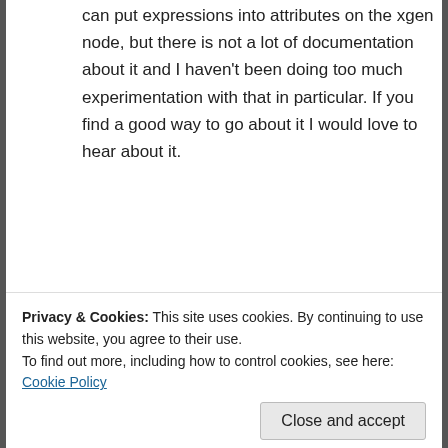can put expressions into attributes on the xgen node, but there is not a lot of documentation about it and I haven't been doing too much experimentation with that in particular. If you find a good way to go about it I would love to hear about it.
Reply
[Figure (photo): Red lanterns on a building, left sidebar image strip]
kosta lavrinuk
June 28, 2018 at 8:25 pm
sorry I was unclear, i meant is it possible
Privacy & Cookies: This site uses cookies. By continuing to use this website, you agree to their use.
To find out more, including how to control cookies, see here: Cookie Policy
Close and accept